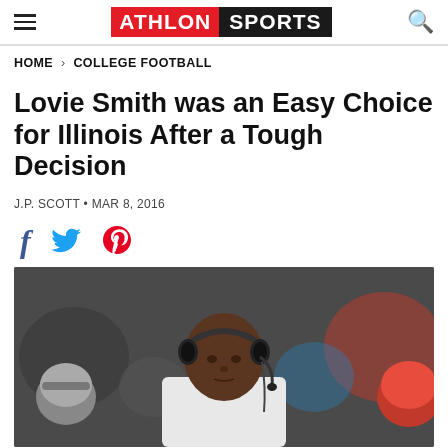ATHLON SPORTS
HOME > COLLEGE FOOTBALL
Lovie Smith was an Easy Choice for Illinois After a Tough Decision
J.P. SCOTT • MAR 8, 2016
[Figure (photo): Photo of Lovie Smith wearing headphones on the sideline, surrounded by players in helmets]
[Figure (infographic): Social share icons: Facebook, Twitter, Pinterest]